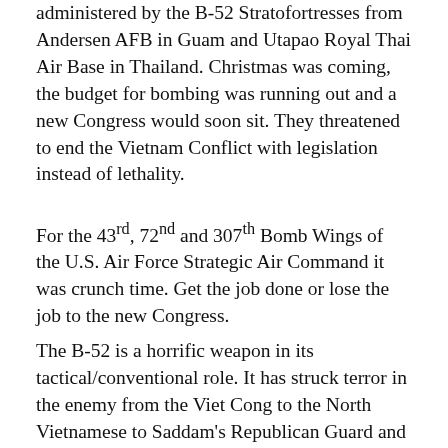administered by the B-52 Stratofortresses from Andersen AFB in Guam and Utapao Royal Thai Air Base in Thailand. Christmas was coming, the budget for bombing was running out and a new Congress would soon sit. They threatened to end the Vietnam Conflict with legislation instead of lethality.
For the 43rd, 72nd and 307th Bomb Wings of the U.S. Air Force Strategic Air Command it was crunch time. Get the job done or lose the job to the new Congress.
The B-52 is a horrific weapon in its tactical/conventional role. It has struck terror in the enemy from the Viet Cong to the North Vietnamese to Saddam's Republican Guard and to Bin Laden's Al Qaeda at Tora Bora. To this day the Stratofortress serves as a capable "bomb truck"